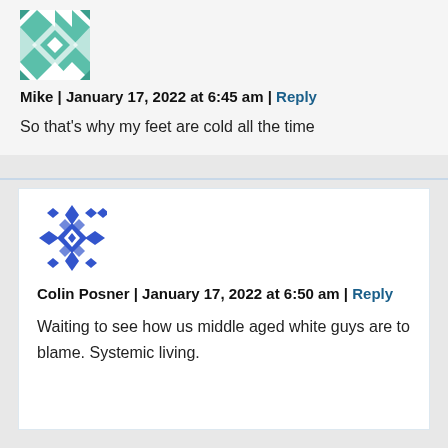[Figure (illustration): Teal geometric quilt-pattern avatar image]
Mike | January 17, 2022 at 6:45 am | Reply
So that's why my feet are cold all the time
[Figure (illustration): Blue geometric diamond-pattern avatar image]
Colin Posner | January 17, 2022 at 6:50 am | Reply
Waiting to see how us middle aged white guys are to blame. Systemic living.